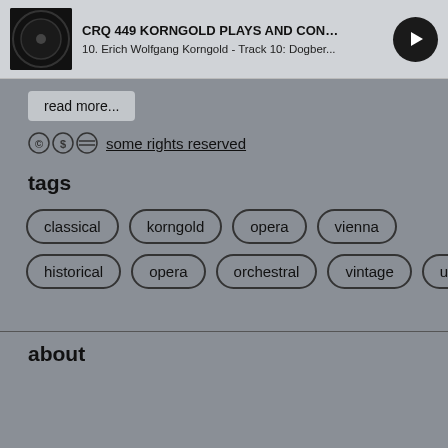CRQ 449 KORNGOLD PLAYS AND CONDUCT... | 10. Erich Wolfgang Korngold - Track 10: Dogber...
read more...
some rights reserved
tags
classical
korngold
opera
vienna
historical
opera
orchestral
vintage
uk
about